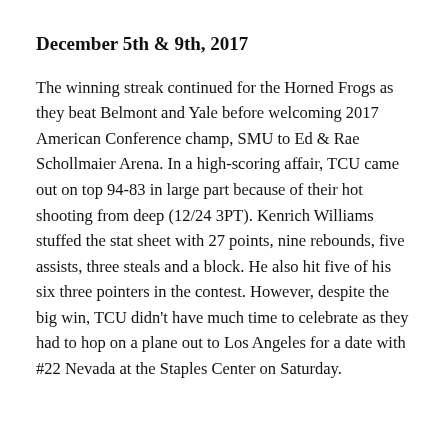December 5th & 9th, 2017
The winning streak continued for the Horned Frogs as they beat Belmont and Yale before welcoming 2017 American Conference champ, SMU to Ed & Rae Schollmaier Arena. In a high-scoring affair, TCU came out on top 94-83 in large part because of their hot shooting from deep (12/24 3PT). Kenrich Williams stuffed the stat sheet with 27 points, nine rebounds, five assists, three steals and a block. He also hit five of his six three pointers in the contest. However, despite the big win, TCU didn't have much time to celebrate as they had to hop on a plane out to Los Angeles for a date with #22 Nevada at the Staples Center on Saturday.